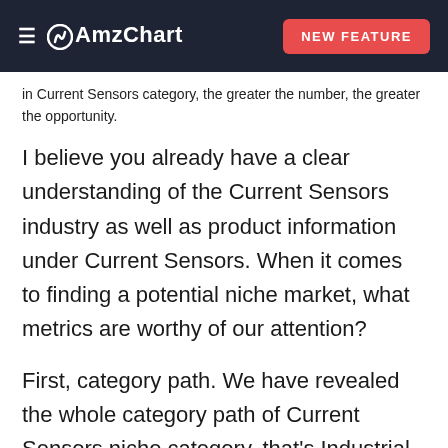≡ AmzChart | NEW FEATURE
in Current Sensors category, the greater the number, the greater the opportunity.
I believe you already have a clear understanding of the Current Sensors industry as well as product information under Current Sensors. When it comes to finding a potential niche market, what metrics are worthy of our attention?
First, category path. We have revealed the whole category path of Current Sensors niche category, that's Industrial & Scientific->Test,